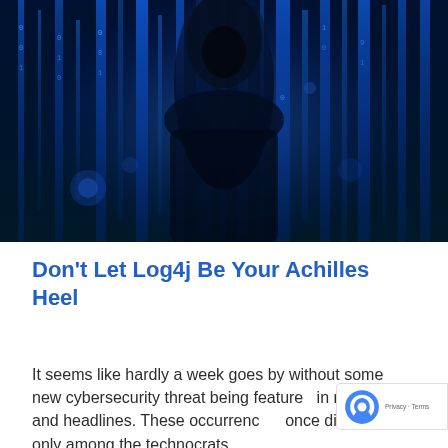[Figure (photo): Dramatic blue-toned image of a hooded hacker figure silhouetted against glowing streams of binary code data in the background.]
Don’t Let Log4j Be Your Achilles Heel
It seems like hardly a week goes by without some new cybersecurity threat being featured in newscasts and headlines. These occurrences, once discussed only among the technocrats